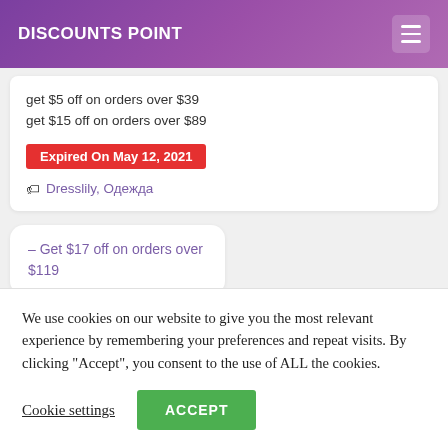DISCOUNTS POINT
get $5 off on orders over $39
get $15 off on orders over $89
Expired On May 12, 2021
Dresslily, Одежда
– Get $17 off on orders over $119
We use cookies on our website to give you the most relevant experience by remembering your preferences and repeat visits. By clicking "Accept", you consent to the use of ALL the cookies.
Cookie settings
ACCEPT